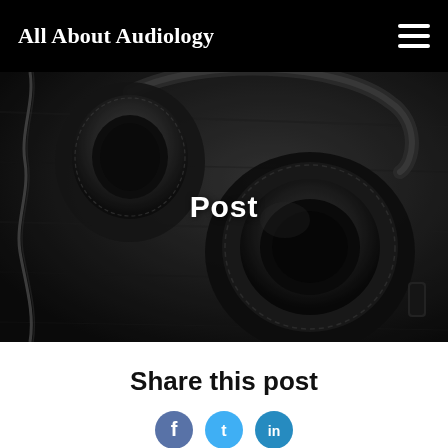All About Audiology
[Figure (photo): Black and white photo of over-ear headphones resting on a dark wooden surface, with a cord visible on the left side.]
Post
Share this post